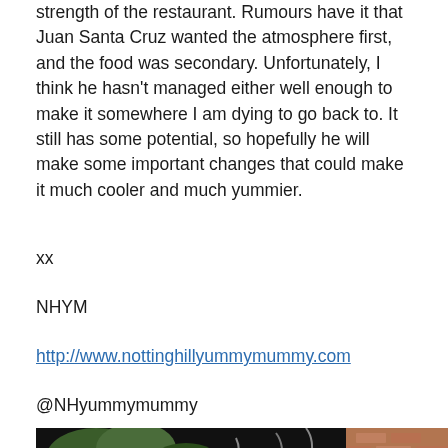strength of the restaurant. Rumours have it that Juan Santa Cruz wanted the atmosphere first, and the food was secondary. Unfortunately, I think he hasn't managed either well enough to make it somewhere I am dying to go back to. It still has some potential, so hopefully he will make some important changes that could make it much cooler and much yummier.
xx
NHYM
http://www.nottinghillyummymummy.com
@NHyummymummy
[Figure (photo): Exterior photograph of a building with plants and brick facade visible, dark awning or canopy in the foreground]